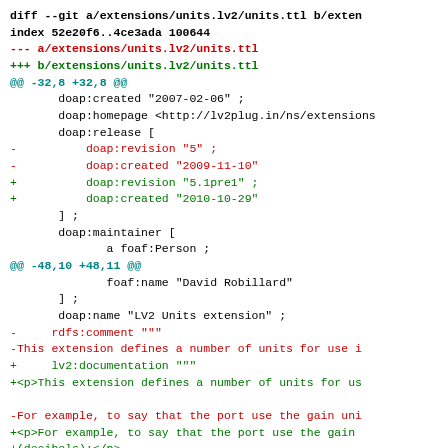diff --git a/extensions/units.lv2/units.ttl b/extensions/units.lv2/units.ttl
index 52e20f6..4ce3ada 100644
--- a/extensions/units.lv2/units.ttl
+++ b/extensions/units.lv2/units.ttl
@@ -32,8 +32,8 @@
        doap:created "2007-02-06" ;
        doap:homepage <http://lv2plug.in/ns/extensions
        doap:release [
-          doap:revision "5" ;
-          doap:created "2009-11-10"
+          doap:revision "5.1pre1" ;
+          doap:created "2010-10-29"
        ] ;
        doap:maintainer [
               a foaf:Person ;
@@ -48,10 +48,11 @@
               foaf:name "David Robillard"
        ] ;
        doap:name "LV2 Units extension" ;
-     rdfs:comment """
-This extension defines a number of units for use i
+     lv2:documentation """
+<p>This extension defines a number of units for us

-For example, to say that the port use the gain uni
+<p>For example, to say that the port use the gain
+(decibels):</p>
 <pre>
 @prefix : &lt;http://lv2plug.in/ns/extensions/unit